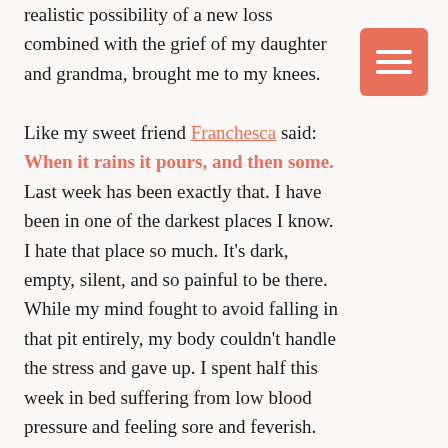realistic possibility of a new loss combined with the grief of my daughter and grandma, brought me to my knees.

Like my sweet friend Franchesca said: When it rains it pours, and then some. Last week has been exactly that. I have been in one of the darkest places I know. I hate that place so much. It's dark, empty, silent, and so painful to be there. While my mind fought to avoid falling in that pit entirely, my body couldn't handle the stress and gave up. I spent half this week in bed suffering from low blood pressure and feeling sore and feverish. Tears flowing without stop. Bad thoughts rushing through my mind, into my veins, causing me even more pain. That physical breakdown was necessary though. It gave me the
[Figure (other): Salmon/coral colored square button with three horizontal white lines (hamburger menu icon)]